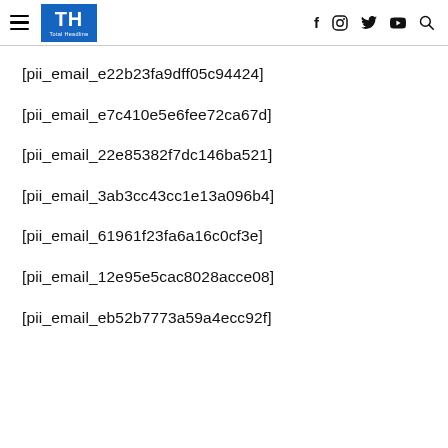TH Total Headline — f  o  y  ▶  🔍
[pii_email_e22b23fa9dff05c94424]
[pii_email_e7c410e5e6fee72ca67d]
[pii_email_22e85382f7dc146ba521]
[pii_email_3ab3cc43cc1e13a096b4]
[pii_email_61961f23fa6a16c0cf3e]
[pii_email_12e95e5cac8028acce08]
[pii_email_eb52b7773a59a4ecc92f]